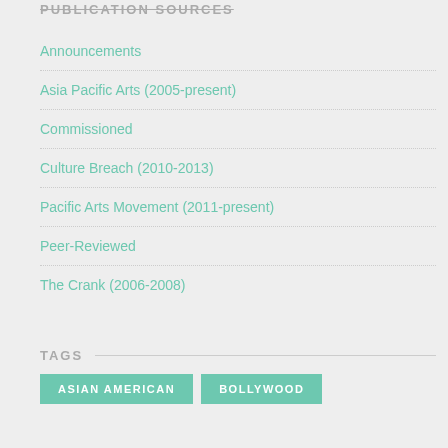PUBLICATION SOURCES
Announcements
Asia Pacific Arts (2005-present)
Commissioned
Culture Breach (2010-2013)
Pacific Arts Movement (2011-present)
Peer-Reviewed
The Crank (2006-2008)
TAGS
ASIAN AMERICAN
BOLLYWOOD